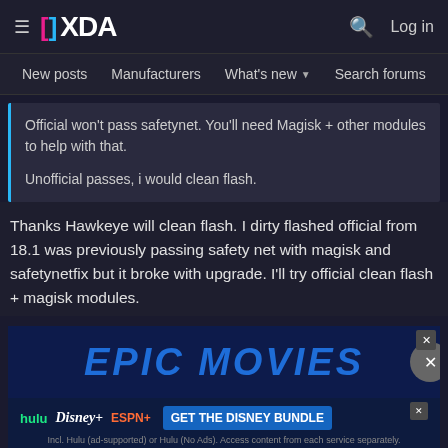XDA | New posts | Manufacturers | What's new | Search forums | Members
Official won't pass safetynet. You'll need Magisk + other modules to help with that.

Unofficial passes, i would clean flash.
Thanks Hawkeye will clean flash. I dirty flashed official from 18.1 was previously passing safety net with magisk and safetynetfix but it broke with upgrade. I'll try official clean flash + magisk modules.
[Figure (screenshot): EPIC MOVIES advertisement banner with dark blue background]
[Figure (screenshot): Disney bundle advertisement: hulu Disney+ ESPN+ GET THE DISNEY BUNDLE. Incl. Hulu (ad-supported) or Hulu (No Ads). Access content from each service separately. ©2021 Disney and its related entities]
LIVE STORIES (partially visible)